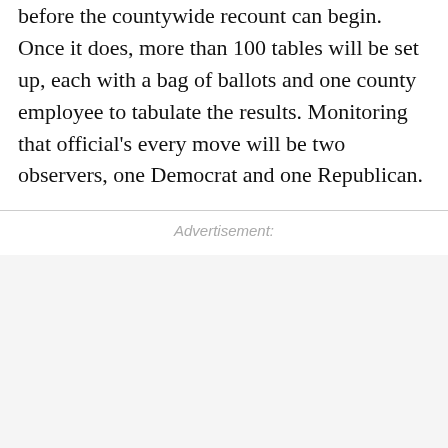excrutiatingly slow. These write-ins must be tabulated before the countywide recount can begin. Once it does, more than 100 tables will be set up, each with a bag of ballots and one county employee to tabulate the results. Monitoring that official's every move will be two observers, one Democrat and one Republican.
Advertisement: